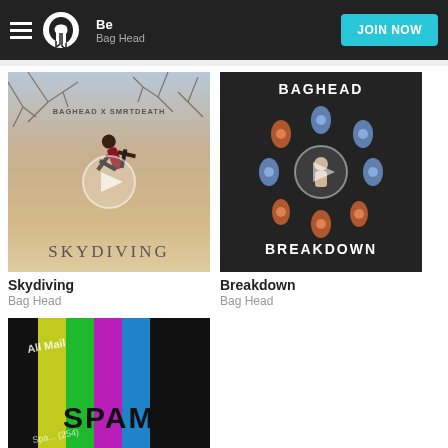Be / Bag Head — Napster — JOIN NOW
[Figure (photo): Album art for Skydiving by Bag Head X Smrtdeath — person falling from sky with bare trees, text BAGHEAD X SMRTDEATH and SKYDIVING]
Skydiving
Bag Head
[Figure (photo): Album art for Breakdown by Bag Head — dark background with diamond-studded figures arranged in a circle, text BAGHEAD and BREAKDOWN]
Breakdown
Bag Head
[Figure (photo): Album art for Spam — colorful vertical bars (yellow, green, magenta, blue) over mail/spam imagery with SPAM logo text]